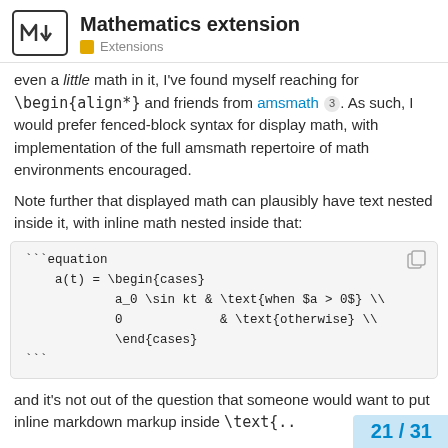Mathematics extension — Extensions
even a little math in it, I've found myself reaching for \begin{align*} and friends from amsmath 3. As such, I would prefer fenced-block syntax for display math, with implementation of the full amsmath repertoire of math environments encouraged.
Note further that displayed math can plausibly have text nested inside it, with inline math nested inside that:
[Figure (screenshot): Code block showing LaTeX equation environment with cases: a(t) = \begin{cases} a_0 \sin kt & \text{when $a > 0$} \\ 0 & \text{otherwise} \\ \end{cases}]
and it's not out of the question that someone would want to put inline markdown markup inside \text{..
21 / 31